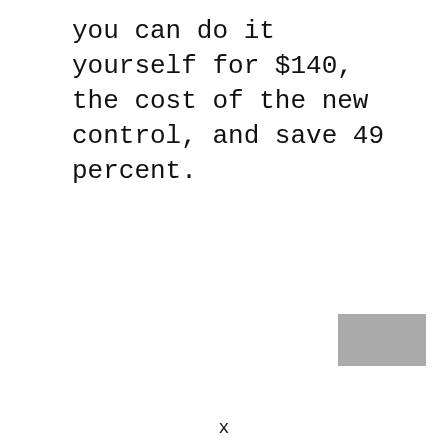you can do it yourself for $140, the cost of the new control, and save 49 percent.
[Figure (photo): Small grey rectangular image in the lower right area of the page]
x